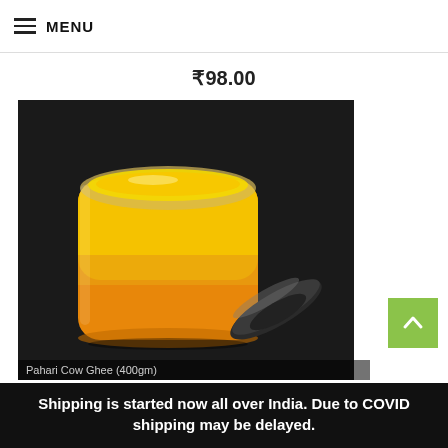MENU
₹98.00
[Figure (photo): An open glass jar of golden yellow Pahari Cow Ghee (400gm) with its dark lid placed beside it, on a dark background.]
Pahari Cow Ghee (400gm)
Shipping is started now all over India. Due to COVID shipping may be delayed.